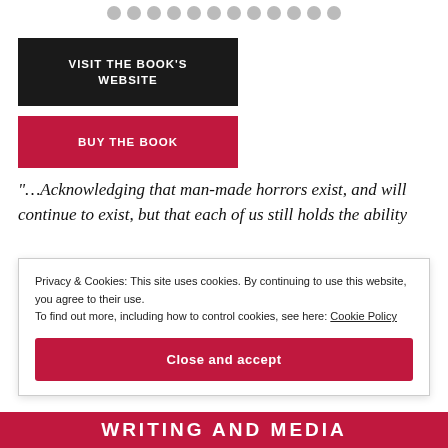[Figure (other): Row of grey decorative dots at the top of the page]
VISIT THE BOOK'S WEBSITE
BUY THE BOOK
"…Acknowledging that man-made horrors exist, and will continue to exist, but that each of us still holds the ability
Privacy & Cookies: This site uses cookies. By continuing to use this website, you agree to their use.
To find out more, including how to control cookies, see here: Cookie Policy
Close and accept
WRITING AND MEDIA